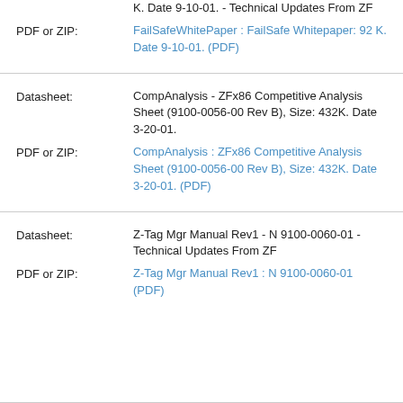K. Date 9-10-01. - Technical Updates From ZF
PDF or ZIP:
FailSafeWhitePaper : FailSafe Whitepaper: 92 K. Date 9-10-01. (PDF)
Datasheet:
CompAnalysis - ZFx86 Competitive Analysis Sheet (9100-0056-00 Rev B), Size: 432K. Date 3-20-01.
PDF or ZIP:
CompAnalysis : ZFx86 Competitive Analysis Sheet (9100-0056-00 Rev B), Size: 432K. Date 3-20-01. (PDF)
Datasheet:
Z-Tag Mgr Manual Rev1 - N 9100-0060-01 - Technical Updates From ZF
PDF or ZIP:
Z-Tag Mgr Manual Rev1 : N 9100-0060-01 (PDF)